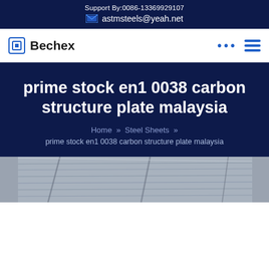Support By:0086-13369929107
astmsteels@yeah.net
Bechex
prime stock en1 0038 carbon structure plate malaysia
Home » Steel Sheets » prime stock en1 0038 carbon structure plate malaysia
[Figure (photo): Metal/steel sheet warehouse roofing structure, industrial interior view from below showing corrugated steel panels]